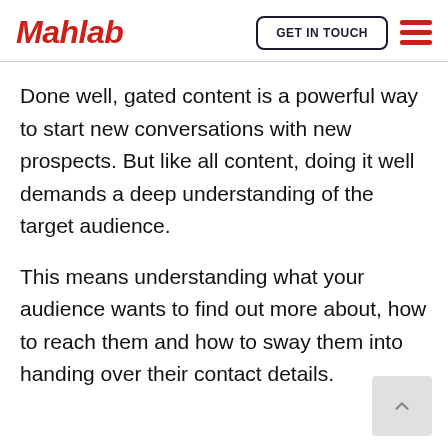Mahlab | GET IN TOUCH
Done well, gated content is a powerful way to start new conversations with new prospects. But like all content, doing it well demands a deep understanding of the target audience.
This means understanding what your audience wants to find out more about, how to reach them and how to sway them into handing over their contact details.